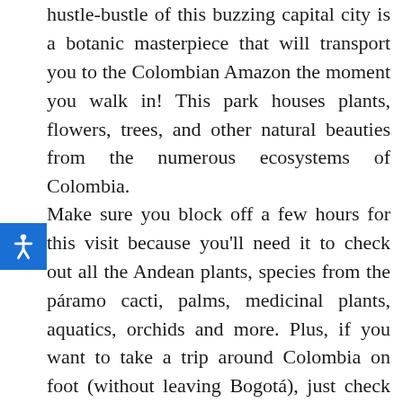hustle-bustle of this buzzing capital city is a botanic masterpiece that will transport you to the Colombian Amazon the moment you walk in! This park houses plants, flowers, trees, and other natural beauties from the numerous ecosystems of Colombia.
Make sure you block off a few hours for this visit because you'll need it to check out all the Andean plants, species from the páramo cacti, palms, medicinal plants, aquatics, orchids and more. Plus, if you want to take a trip around Colombia on foot (without leaving Bogotá), just check out the greenhouses that are climatized to recreate Colombia weather, land, and flora.